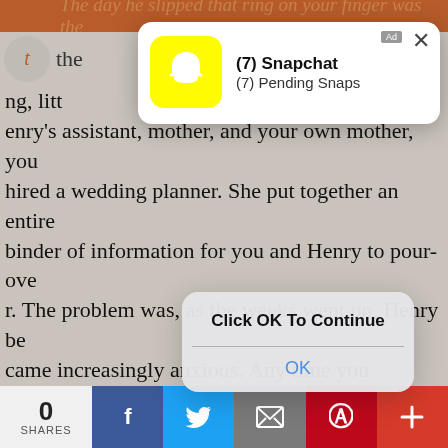The day he slipped that ring on your finger was the there ng, litt enry's assistant, mother, and your own mother, you hired a wedding planner. She put together an entire binder of information for you and Henry to pour-over. The problem was, as the weeks went on, Henry became increasingly anxious. Any time you brought up wedding plans, Henry's eyes would immediately darken. It wasn't that he didn't care — he did care very much, but there was something else going on.
[Figure (screenshot): Snapchat push notification ad showing ghost logo on yellow background, title '(7) Snapchat', subtitle '(7) Pending Snaps', with X close button and Ad label]
[Figure (screenshot): iOS-style dialog box with bold text 'Click OK To Continue' and blue 'OK' button]
At first, it was kind of cute. Henry would get a little nervous and you chalked it all up to wedding nerves. He didn't seem to think you noticed, but after a while, it was becoming a major concern. Any time you a
[Figure (infographic): Social sharing bar at bottom: '0 SHARES' then Facebook (blue), Twitter (light blue), Email (gray), Pinterest (red), Plus (dark red) buttons]